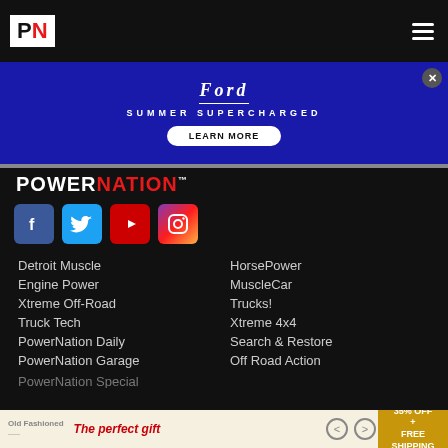PN PowerNation (logo header bar)
[Figure (screenshot): Ford SUMMER SUPERCHARGED advertisement banner with blue background, Ford logo, and LEARN MORE button]
[Figure (logo): POWERNATION™ logo in white and red on black background]
[Figure (infographic): Social media icons: Facebook, Twitter, YouTube, Instagram]
Detroit Muscle
Engine Power
Xtreme Off-Road
Truck Tech
PowerNation Daily
PowerNation Garage
HorsePower
MuscleCar
Trucks!
Xtreme 4x4
Search & Restore
Off Road Action
[Figure (screenshot): Bottom advertisement banner: The perfect gift, 35% OFF + FREE SHIPPING]